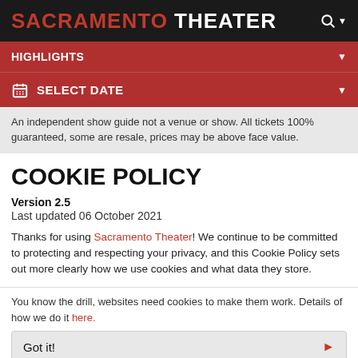SACRAMENTO THEATER
HIGHLIGHTS
SELECT DATE
An independent show guide not a venue or show. All tickets 100% guaranteed, some are resale, prices may be above face value.
COOKIE POLICY
Version 2.5
Last updated 06 October 2021
Thanks for using Sacramento Theater! We continue to be committed to protecting and respecting your privacy, and this Cookie Policy sets out more clearly how we use cookies and what data they store.
You know the drill, websites need cookies to make them work. Details of how we do it here.
Got it!